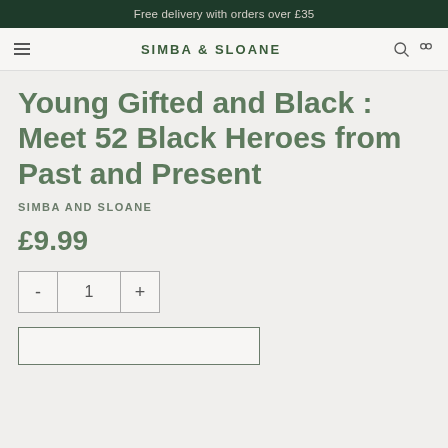Free delivery with orders over £35
Young Gifted and Black : Meet 52 Black Heroes from Past and Present
SIMBA AND SLOANE
£9.99